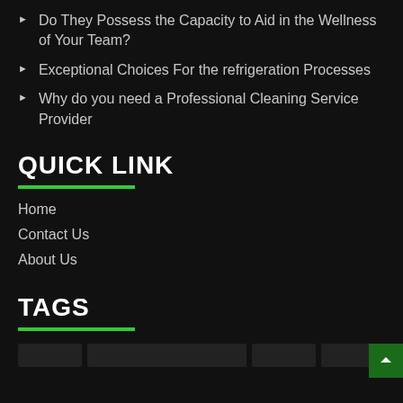Do They Possess the Capacity to Aid in the Wellness of Your Team?
Exceptional Choices For the refrigeration Processes
Why do you need a Professional Cleaning Service Provider
QUICK LINK
Home
Contact Us
About Us
TAGS